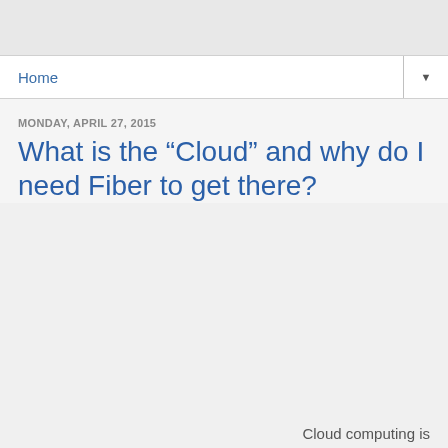Home
MONDAY, APRIL 27, 2015
What is the “Cloud” and why do I need Fiber to get there?
Cloud computing is